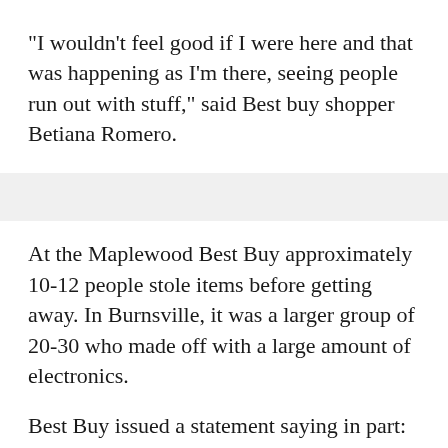"I wouldn't feel good if I were here and that was happening as I'm there, seeing people run out with stuff," said Best buy shopper Betiana Romero.
At the Maplewood Best Buy approximately 10-12 people stole items before getting away. In Burnsville, it was a larger group of 20-30 who made off with a large amount of electronics.
Best Buy issued a statement saying in part: "As an industry we are working with local law enforcement and taking additional security precautions where it makes sense."